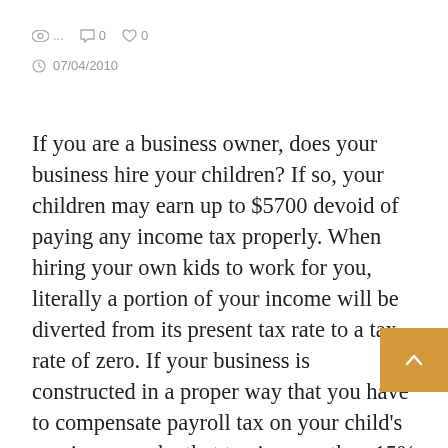👁 … 💬 0 🤍 0
🕐 07/04/2010
If you are a business owner, does your business hire your children? If so, your children may earn up to $5700 devoid of paying any income tax properly. When hiring your own kids to work for you, literally a portion of your income will be diverted from its present tax rate to a tax rate of zero. If your business is constru[cted] in a proper way that you have to compensate payroll tax on your child's earnings, maybe that tax is more than 15% which will probably be less than your present tax rate.